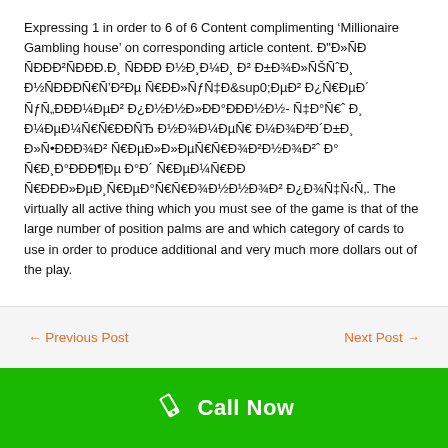Expressing 1 in order to 6 of 6 Content complimenting ‘Millionaire Gambling house’ on corresponding article content. Đ"Đ»ÑĐ ÑĐĐ²ÑĐĐ.Đ¸ ÑĐ Đ½Đ¸Đ¼Đ¸ Đ² Đ±Đ¾Đ»ÑŒÑˆĐ¸ Đ½ÑĐÑ,Đ²Đµ ÑĐĐ»ÑfÑ‡Đ°ĐµĐ² Đ¿Ñ€ĐµĐ´ ÑfÑĐĐ¼Đ¾Đ²Đ¿Đ½Đ½Đ»ĐĐ°ĐĐ½Đ½- Ñ‡Đ°Ñ,, Đ¸ Đ¼ĐµĐ¼Ñ,ÑĐÑЂ Đ½Đ¾Đ¼ĐµÑ€ Đ¼Đ¾Đ²Đ´Đ±Đ¸ Đ»ÑŒĐЂĐ¾Đ² Ñ,ĐµĐ»Đ»ĐµÑ,Ñ,Đ¾Đ²Đ½Đ¾Đ², Đ° ÑĐ¸Đ°ĐĐ¶Đµ Đ°Đ´ Ñ€ĐµĐ¼ÑĐ ÑĐĐ»ĐµĐ¸ÑĐµĐ°Ñ,Ñ€Đ¾Đ½Đ½Đ¾Đ² Đ¿Đ¾Ñ‡Ñ‹Ñ‚. The virtually all active thing which you must see of the game is that of the large number of position palms are and which category of cards to use in order to produce additional and very much more dollars out of the play.
← Previous Post
Next Post →
[Figure (other): Green footer bar with white phone icon and 'Call Now' text in white]